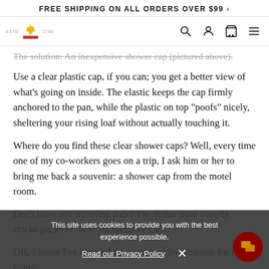FREE SHIPPING ON ALL ORDERS OVER $99 >
[Figure (logo): King Arthur brand logo with crown emblem, ESTD 1790]
The solution: An inexpensive shower cap (pictured above).
Use a clear plastic cap, if you can; you get a better view of what's going on inside. The elastic keeps the cap firmly anchored to the pan, while the plastic on top "poofs" nicely, sheltering your rising loaf without actually touching it.
Where do you find these clear shower caps? Well, every time one of my co-workers goes on a trip, I ask him or her to bring me back a souvenir: a shower cap from the motel room.
Don't have any traveling pals? The dollar store usually stocks packs of these inexpensive caps.
OK, I know I've covered the promised five reasons for low-rising
This site uses cookies to provide you with the best experience possible.
Read our Privacy Policy